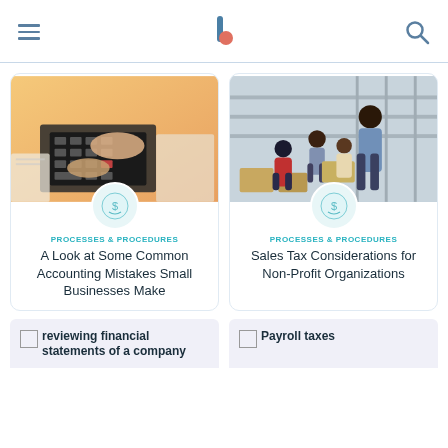[hamburger menu] [logo] [search icon]
[Figure (photo): Hands using a calculator on a desk with documents]
PROCESSES & PROCEDURES
A Look at Some Common Accounting Mistakes Small Businesses Make
[Figure (photo): People working in a warehouse/storage facility]
PROCESSES & PROCEDURES
Sales Tax Considerations for Non-Profit Organizations
[Figure (photo): reviewing financial statements of a company]
[Figure (photo): Payroll taxes]